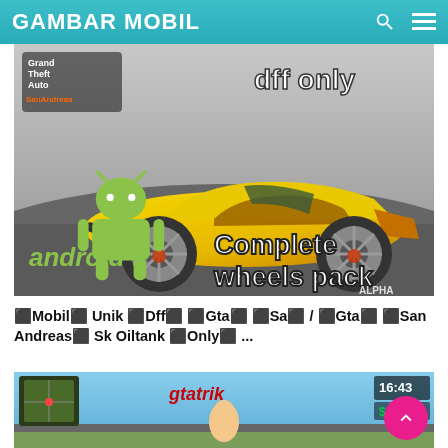GAMBAR MOBIL
[Figure (screenshot): GTA San Andreas screenshot showing a yellow Lamborghini Aventador sports car on a road, with Android logo on the left, text 'dff only' in top right, 'Complete wheels pack' in bottom right, and 'ALPHA' watermark. Grand Theft Auto San Andreas logo in top left.]
⬛Mobil⬛ Unik ⬛Dff⬛ ⬛Gta⬛ ⬛Sa⬛ / ⬛Gta⬛ ⬛San Andreas⬛ Sk Oiltank ⬛Only⬛ ...
[Figure (screenshot): GTA San Andreas in-game screenshot showing gameplay with 'gtatrik' text in red italic, minimap in top left corner, time 16:43 and $350 shown in top right, blue sky background with a character visible.]